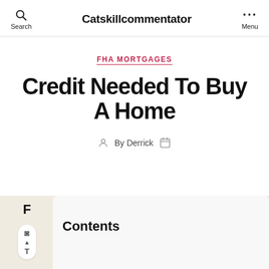Catskillcommentator
FHA MORTGAGES
Credit Needed To Buy A Home
By Derrick
Contents